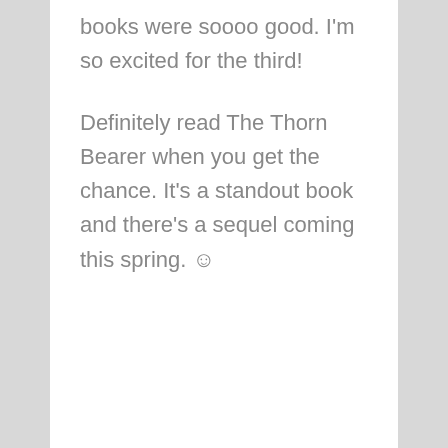books were soooo good. I'm so excited for the third!
Definitely read The Thorn Bearer when you get the chance. It's a standout book and there's a sequel coming this spring. ☺